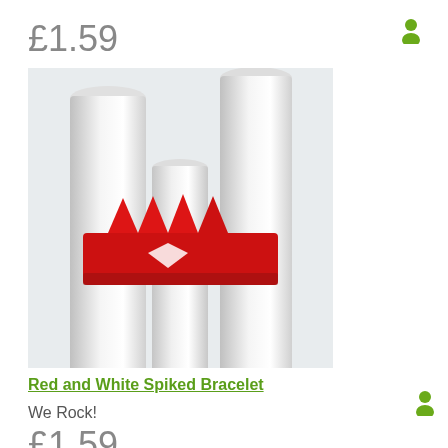£1.59
[Figure (photo): Red and white spiked bracelet ring on white cylindrical display stands]
Red and White Spiked Bracelet
We Rock!
£1.59
[Figure (photo): Anime-style avatar with red/brown hair and cat ears, partially visible at bottom of page]